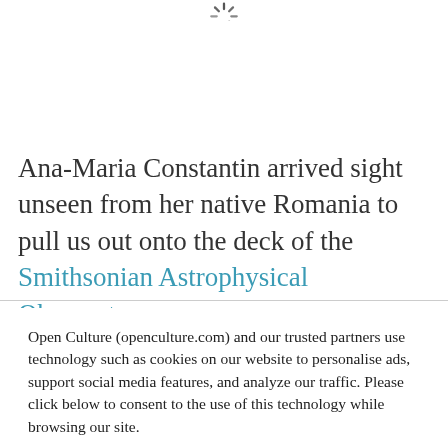[Figure (illustration): Partial loading spinner graphic at the top of the page]
Ana-Maria Constantin arrived sight unseen from her native Romania to pull us out onto the deck of the Smithsonian Astrophysical Observatory.
Open Culture (openculture.com) and our trusted partners use technology such as cookies on our website to personalise ads, support social media features, and analyze our traffic. Please click below to consent to the use of this technology while browsing our site.
Cookie settings   ACCEPT